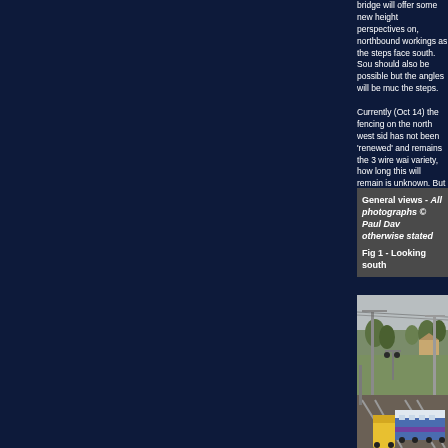bridge will offer some new height perspectives on, northbound workings as the steps face south. Southbound should also be possible but the angles will be much the steps. Currently (Oct 14) the fencing on the north west side has not been 'renewed' and remains the 3 wire waist variety, how long this will remain is unknown. But still now be worth bringing just in case.
General views - All photographs © Paul Dav otherwise stated
Fig 1 - Looking south
[Figure (photo): Photograph looking south showing railway tracks with overhead electric catenary masts, a passenger train (blue and white livery) on the right track, green fields, trees, and buildings in the background under an overcast sky.]